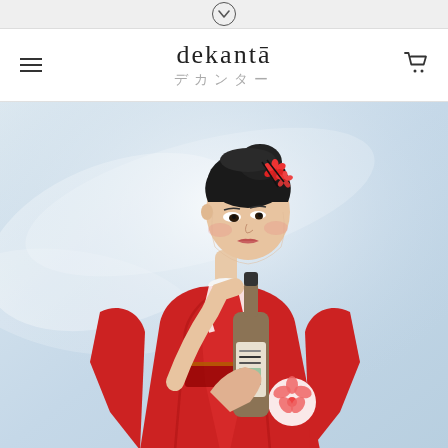dekantā デカンター
[Figure (photo): Hero image of a Japanese woman in a red kimono holding a whisky bottle (Chichibu), with floral hair accessories, on a light blue swirling background. This is the dekanta website homepage hero image.]